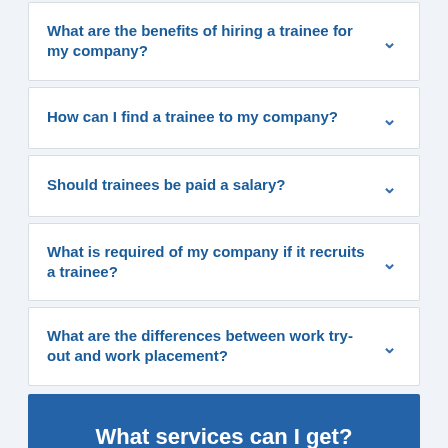What are the benefits of hiring a trainee for my company?
How can I find a trainee to my company?
Should trainees be paid a salary?
What is required of my company if it recruits a trainee?
What are the differences between work try-out and work placement?
What services can I get?
See related services and service channels.